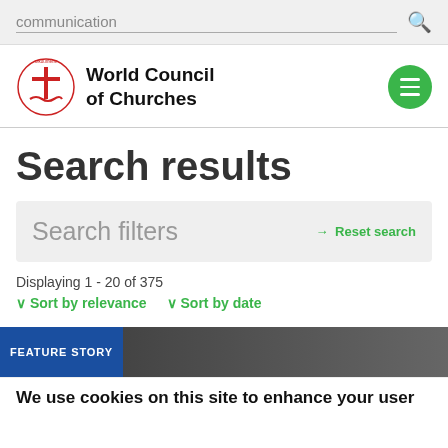communication [search bar]
[Figure (logo): World Council of Churches logo with oikoumene circular text and cross/dove symbol in red]
Search results
Search filters  → Reset search
Displaying 1 - 20 of 375
Sort by relevance    Sort by date
FEATURE STORY
We use cookies on this site to enhance your user